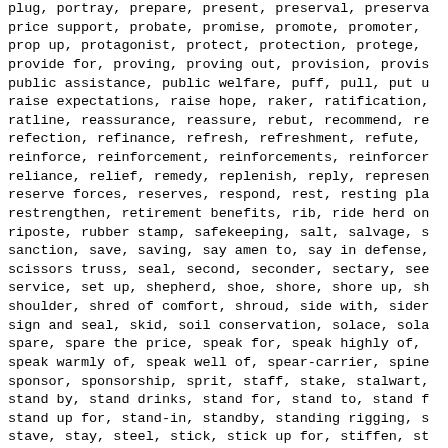plug, portray, prepare, present, preserval, preserva price support, probate, promise, promote, promoter, prop up, protagonist, protect, protection, protege, provide for, proving, proving out, provision, provis public assistance, public welfare, puff, pull, put u raise expectations, raise hope, raker, ratification, ratline, reassurance, reassure, rebut, recommend, re refection, refinance, refresh, refreshment, refute, reinforce, reinforcement, reinforcements, reinforcer reliance, relief, remedy, replenish, reply, represen reserve forces, reserves, respond, rest, resting pla restrengthen, retirement benefits, rib, ride herd on riposte, rubber stamp, safekeeping, salt, salvage, s sanction, save, saving, say amen to, say in defense, scissors truss, seal, second, seconder, sectary, see service, set up, shepherd, shoe, shore, shore up, sh shoulder, shred of comfort, shroud, side with, sider sign and seal, skid, soil conservation, solace, sola spare, spare the price, speak for, speak highly of, speak warmly of, speak well of, spear-carrier, spine sponsor, sponsorship, sprit, staff, stake, stalwart, stand by, stand drinks, stand for, stand to, stand f stand up for, stand-in, standby, standing rigging, s stave, stay, steel, stick, stick up for, stiffen, st stilts, stipend, stirrup, stock, stomach, store, stream conservation, strengthen, strengthener, stren strut, submit to, subscribe to, subsidization, subsi subsistence, substantiate, substantiation, substitut substructure, subvention, subventionize, succor, sut super, supernumerary, supply, supporter, supporting